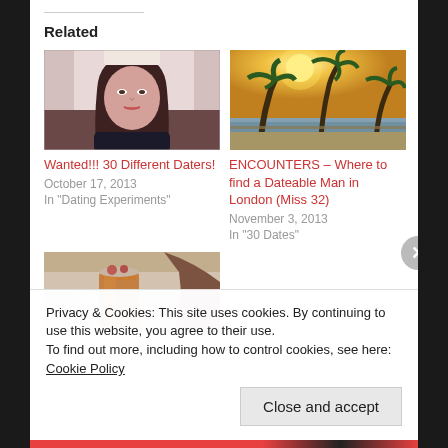Related
[Figure (photo): Photo of a young woman with long dark hair, selfie style]
Wanted!!! 30 Different Daters!
October 17, 2013
In "Dating Experiments"
[Figure (photo): Photo of palm trees silhouetted against a bright sky near water]
ENCOUNTERS – Where to find a Dateable Man in London (Miss 32)
November 3, 2013
In "30 Dates"
[Figure (photo): Photo of a person holding a drink, partial view]
Privacy & Cookies: This site uses cookies. By continuing to use this website, you agree to their use.
To find out more, including how to control cookies, see here: Cookie Policy
Close and accept